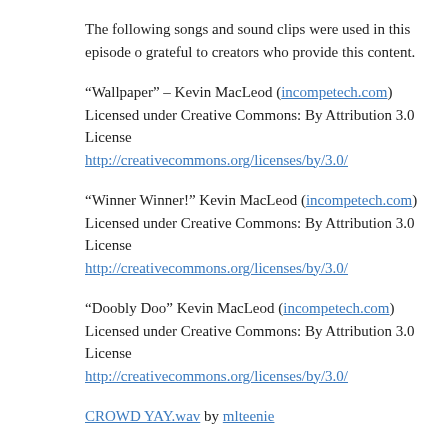The following songs and sound clips were used in this episode of grateful to creators who provide this content.
“Wallpaper” – Kevin MacLeod (incompetech.com)
Licensed under Creative Commons: By Attribution 3.0 License
http://creativecommons.org/licenses/by/3.0/
“Winner Winner!” Kevin MacLeod (incompetech.com)
Licensed under Creative Commons: By Attribution 3.0 License
http://creativecommons.org/licenses/by/3.0/
“Doobly Doo” Kevin MacLeod (incompetech.com)
Licensed under Creative Commons: By Attribution 3.0 License
http://creativecommons.org/licenses/by/3.0/
CROWD YAY.wav by mlteenie
“Carpe Diem” Kevin MacLeod (incompetech.com)